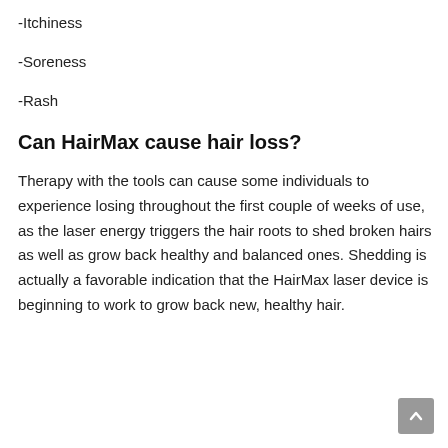-Itchiness
-Soreness
-Rash
Can HairMax cause hair loss?
Therapy with the tools can cause some individuals to experience losing throughout the first couple of weeks of use, as the laser energy triggers the hair roots to shed broken hairs as well as grow back healthy and balanced ones. Shedding is actually a favorable indication that the HairMax laser device is beginning to work to grow back new, healthy hair.